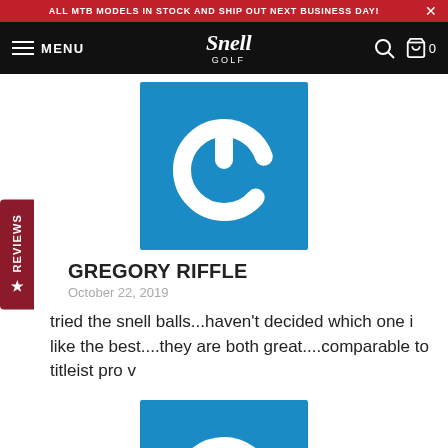ALL MTB MODELS IN STOCK AND SHIP OUT NEXT BUSINESS DAY!
[Figure (logo): Snell Golf navigation bar with hamburger menu, logo, search icon, and cart icon showing 0 items]
[Figure (illustration): Blue square avatar with white power button icon]
GREGORY RIFFLE
October 22, 2019
tried the snell balls...haven't decided which one i like the best....they are both great....comparable to titleist pro v
[Figure (illustration): Blue square avatar with partial white icon, cropped at bottom]